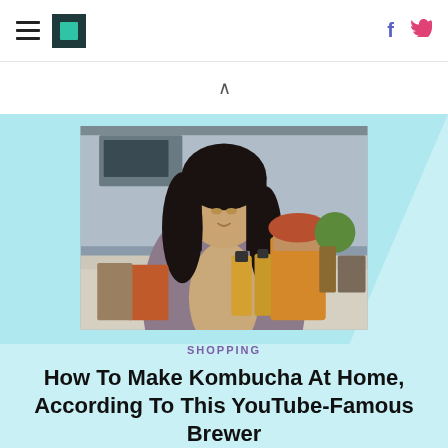HuffPost navigation header with hamburger menu, logo, Facebook and Twitter icons
[Figure (photo): A woman with long dark hair in a floral jacket smiling and looking down at kombucha brewing jars on a kitchen counter. Kitchen background with appliances.]
SHOPPING
How To Make Kombucha At Home, According To This YouTube-Famous Brewer